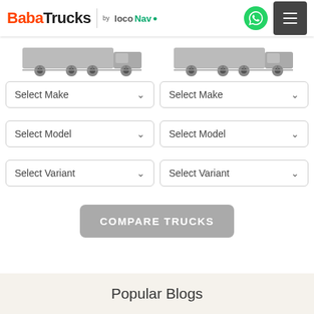BabaTrucks by locoNav
[Figure (illustration): Two gray truck silhouettes shown side by side for comparison]
Select Make (dropdown) | Select Make (dropdown)
Select Model (dropdown) | Select Model (dropdown)
Select Variant (dropdown) | Select Variant (dropdown)
COMPARE TRUCKS
Popular Blogs